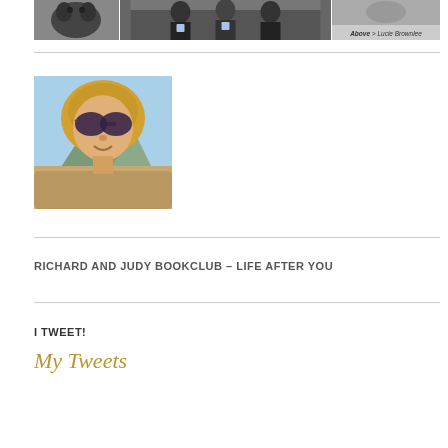[Figure (photo): Three photos side by side at the top: a dark animal photo on the left, a group photo in the center, and a photo with caption 'Above > Lucie Brownlee' on the right]
Above > Lucie Brownlee
[Figure (photo): Profile photo of a blonde woman wearing large sunglasses, outdoors with mountains and sky in background]
RICHARD AND JUDY BOOKCLUB – LIFE AFTER YOU
I TWEET!
My Tweets